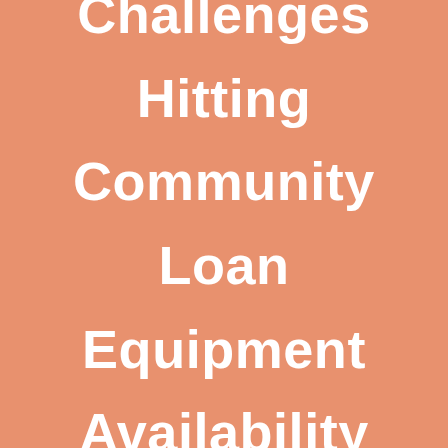Challenges Hitting Community Loan Equipment Availability